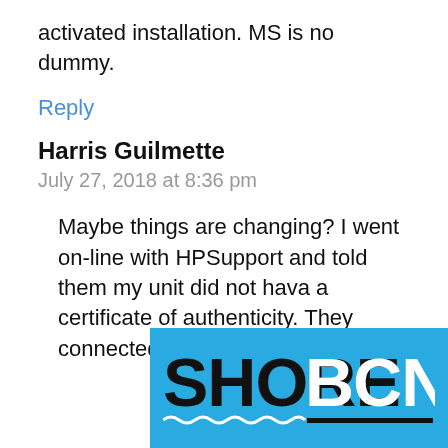activated installation. MS is no dummy.
Reply
Harris Guilmette
July 27, 2018 at 8:36 pm
Maybe things are changing? I went on-line with HPSupport and told them my unit did not hava a certificate of authenticity. They connected to
[Figure (logo): SHORE BCN logo on a blue background with white wave underline and black horizontal bar]